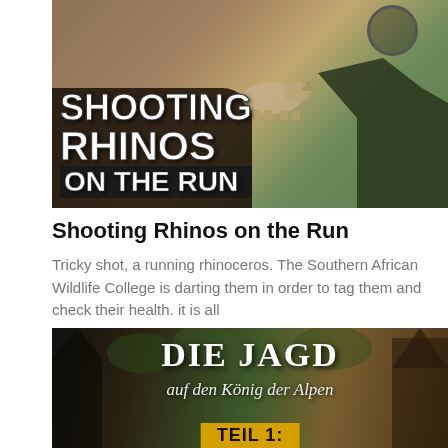[Figure (photo): Outdoor safari scene with a person holding a rifle/dart gun aiming from a vehicle. Text overlay reads 'SHOOTING RHINOS ON THE RUN' in large bold white letters.]
Shooting Rhinos on the Run
Tricky shot, a running rhinoceros. The Southern African Wildlife College is darting them in order to tag them and check their health. it is all
[Figure (photo): Dark nature/forest background with text overlay reading 'DIE JAGD auf den König der Alpen TEIL 1:' in white and gold letters.]